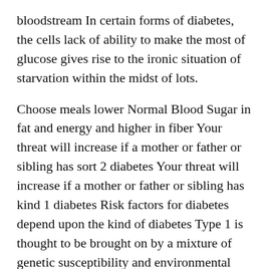bloodstream In certain forms of diabetes, the cells lack of ability to make the most of glucose gives rise to the ironic situation of starvation within the midst of lots.
Choose meals lower Normal Blood Sugar in fat and energy and higher in fiber Your threat will increase if a mother or father or sibling has sort 2 diabetes Your threat will increase if a mother or father or sibling has kind 1 diabetes Risk factors for diabetes depend upon the kind of diabetes Type 1 is thought to be brought on by a mixture of genetic susceptibility and environmental components, though exactly what those factors are is still unclear Weight isn t believed to be a factor in type 1 diabetes.
A blood sugar degree of 126 milligrams per deciliter mg dL or higher on 2 events indicates diabetes A blood sugar level of a hundred mg per dL to one hundred twenty five